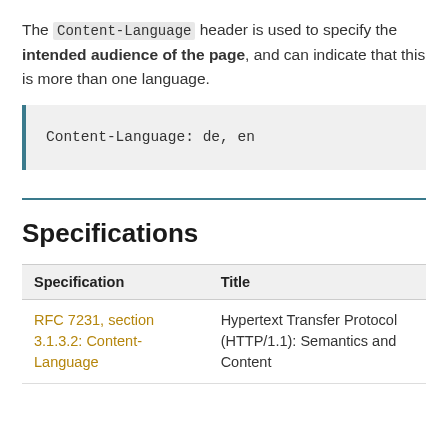The Content-Language header is used to specify the intended audience of the page, and can indicate that this is more than one language.
Content-Language: de, en
Specifications
| Specification | Title |
| --- | --- |
| RFC 7231, section 3.1.3.2: Content-Language | Hypertext Transfer Protocol (HTTP/1.1): Semantics and Content |